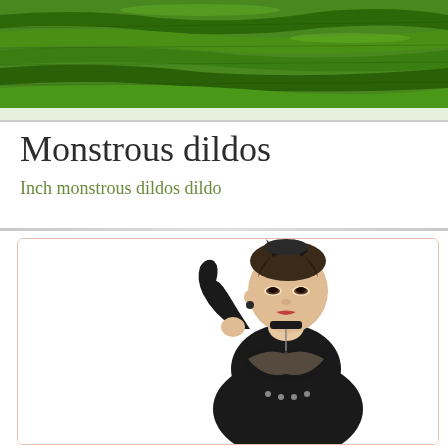[Figure (photo): Aerial/overhead photograph of green terraced fields or tea plantation landscape, cropped at top of page]
Monstrous dildos
Inch monstrous dildos dildo
[Figure (photo): Woman in black latex/leather outfit with cat ears headpiece, long black gloves, posing against white background]